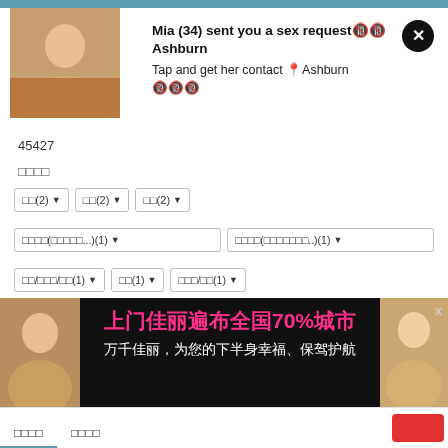[Figure (screenshot): Screenshot of a web interface showing a notification popup with an adult content advertisement from 'Mia (34)' and a Chinese advertisement banner at the bottom.]
Mia (34) sent you a sex request🔞🔞 Ashburn
Tap and get her contact 📍Ashburn 🔞🔞🔞
45427
□□□□
□□(2) ▼   □□(2) ▼   □□(2) ▼
□□□□(□□□□□...)(1) ▼   □□□□(□□□□□□□..)(1) ▼
□□/□□□/□□(1) ▼   □□(1) ▼   □□□/□□(1) ▼
□□□□
2019-08-04 21:39:13
□□□□
[Figure (photo): Chinese adult services advertisement banner: 上门佳丽遍布全国70%城市 万千佳丽，为您的下半身幸福、保驾护航]
□□□□   □□□□